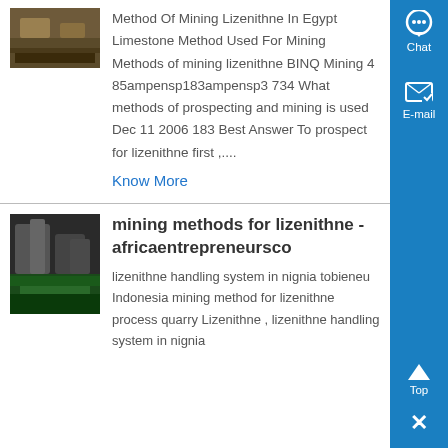[Figure (photo): Thumbnail photo of mining/limestone rock material]
Method Of Mining Lizenithne In Egypt Limestone Method Used For Mining Methods of mining lizenithne BINQ Mining 4 85ampensp183ampensp3 734 What methods of prospecting and mining is used Dec 11 2006 183 Best Answer To prospect for lizenithne first ,...
Know More
[Figure (photo): Thumbnail photo of industrial mining equipment/machinery inside a facility]
mining methods for lizenithne - africaentrepreneursco
lizenithne handling system in nignia tobieneu Indonesia mining method for lizenithne process quarry Lizenithne , lizenithne handling system in nignia